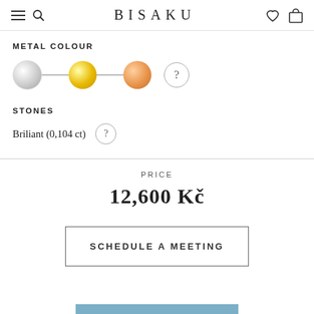BISAKU
METAL COLOUR
[Figure (illustration): Three metal colour swatches connected by lines: silver (white/grey), gold (yellow), and rose gold (orange), followed by a question mark circle icon]
STONES
Briliant (0,104 ct)
PRICE
12,600 Kč
SCHEDULE A MEETING